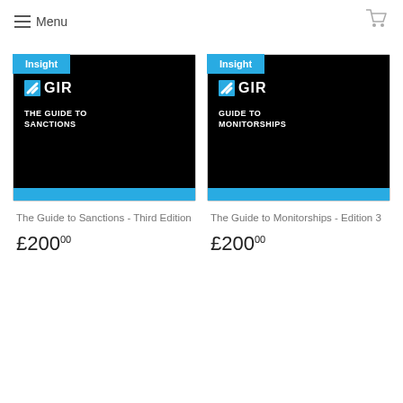Menu
[Figure (illustration): Book cover: GIR The Guide to Sanctions, black cover with blue bottom bar and Insight badge]
[Figure (illustration): Book cover: GIR Guide to Monitorships, black cover with blue bottom bar and Insight badge]
The Guide to Sanctions - Third Edition
The Guide to Monitorships - Edition 3
£200.00
£200.00